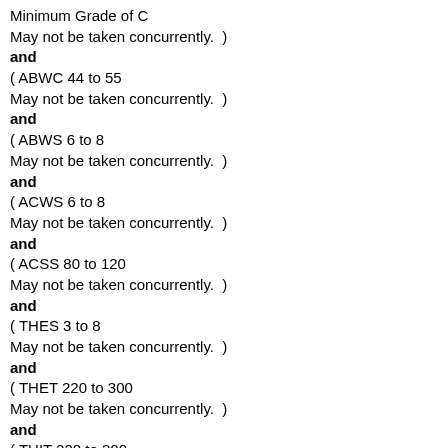Minimum Grade of C
May not be taken concurrently.  )
and
(  ABWC 44 to 55
May not be taken concurrently.  )
and
(  ABWS 6 to 8
May not be taken concurrently.  )
and
(  ACWS 6 to 8
May not be taken concurrently.  )
and
(  ACSS 80 to 120
May not be taken concurrently.  )
and
(  THES 3 to 8
May not be taken concurrently.  )
and
(  THET 220 to 300
May not be taken concurrently.  )
and
(  THIT 220 to 300
May not be taken concurrently.  )
and
(  THIS 3 to 4
May not be taken concurrently.  )
and
(  READ 0303
Minimum Grade of C